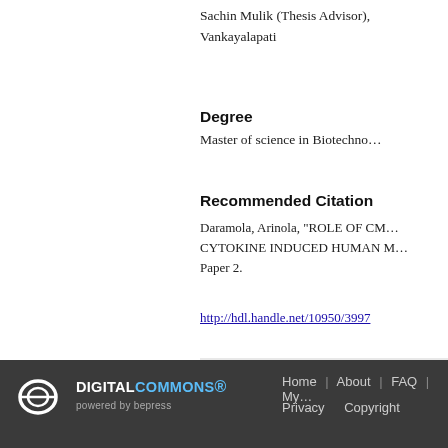Sachin Mulik (Thesis Advisor),
Vankayalapati
Degree
Master of science in Biotechno...
Recommended Citation
Daramola, Arinola, "ROLE OF CM... CYTOKINE INDUCED HUMAN M... Paper 2.
http://hdl.handle.net/10950/3997
Additional Files
Thesis Final Approval Form - Da...
DIGITAL COMMONS® powered by bepress | Home | About | FAQ | My... | Privacy | Copyright